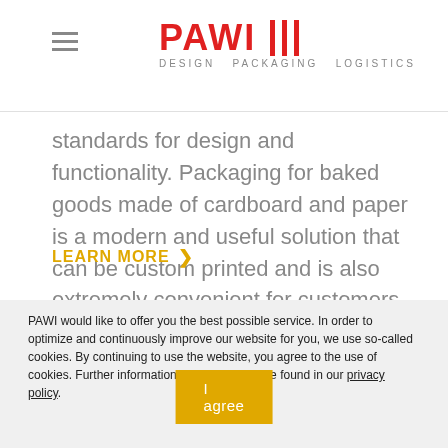PAWI DESIGN PACKAGING LOGISTICS
standards for design and functionality. Packaging for baked goods made of cardboard and paper is a modern and useful solution that can be custom printed and is also extremely convenient for customers.
LEARN MORE >
PAWI would like to offer you the best possible service. In order to optimize and continuously improve our website for you, we use so-called cookies. By continuing to use the website, you agree to the use of cookies. Further information on cookies can be found in our privacy policy.
I agree